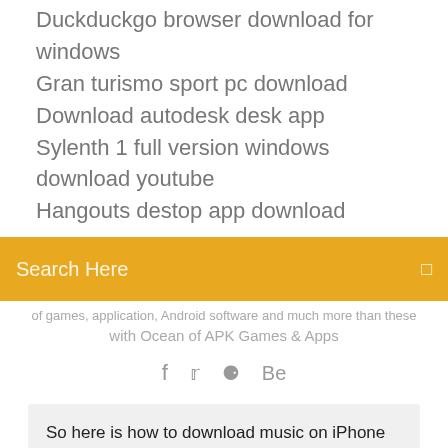Duckduckgo browser download for windows
Gran turismo sport pc download
Download autodesk desk app
Sylenth 1 full version windows download youtube
Hangouts destop app download
Search Here
of games, application, Android software and much more than these with Ocean of APK Games & Apps
f  ψ  ⊗  Be
So here is how to download music on iPhone in iOS 13 guys. I will be creating a separate video on how to master Evermusic (free version) app. Just download t[FREE]How to Add/Download Music on iPhone 8/8 Plus Easily...https://easeus.com/iphone-data-